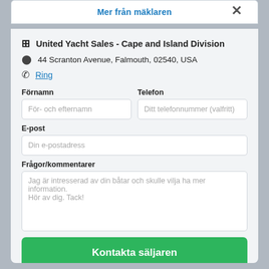Mer från mäklaren
United Yacht Sales - Cape and Island Division
44 Scranton Avenue, Falmouth, 02540, USA
Ring
Förnamn
För- och efternamn
Telefon
Ditt telefonnummer (valfritt)
E-post
Din e-postadress
Frågor/kommentarer
Jag är intresserad av din båtar och skulle vilja ha mer information.
Hör av dig. Tack!
Kontakta säljaren